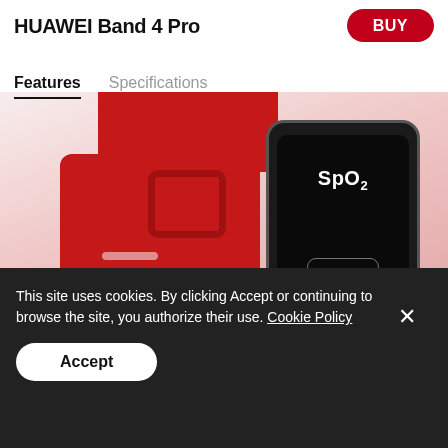HUAWEI Band 4 Pro
BUY
Features
Specifications
[Figure (photo): Red HUAWEI Band 4 Pro fitness tracker with red silicone strap showing SpO2 on the display screen]
Top
This site uses cookies. By clicking Accept or continuing to browse the site, you authorize their use. Cookie Policy
Accept